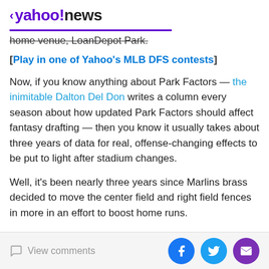< yahoo!news
home venue, LoanDepot Park.
[Play in one of Yahoo's MLB DFS contests]
Now, if you know anything about Park Factors — the inimitable Dalton Del Don writes a column every season about how updated Park Factors should affect fantasy drafting — then you know it usually takes about three years of data for real, offense-changing effects to be put to light after stadium changes.
Well, it's been nearly three years since Marlins brass decided to move the center field and right field fences in more in an effort to boost home runs.
View comments